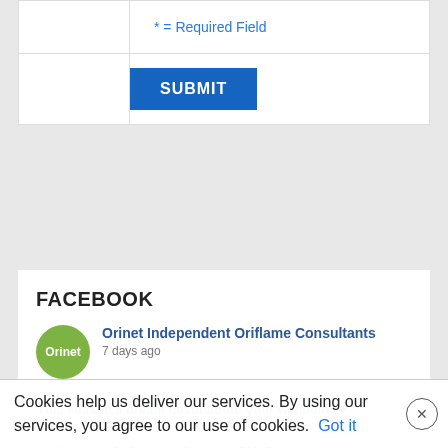|  | * = Required Field |
|  | SUBMIT |
FACEBOOK
Orinet Independent Oriflame Consultants
7 days ago
This season's dream destination: your wellbeing❤
icont.ac
Wellness by Oriflame is all about YOU. Our products are designed to help you fill in any nutritional gaps, boost vitamin and mineral intake and set you out on a journey to
Cookies help us deliver our services. By using our services, you agree to our use of cookies. Got it